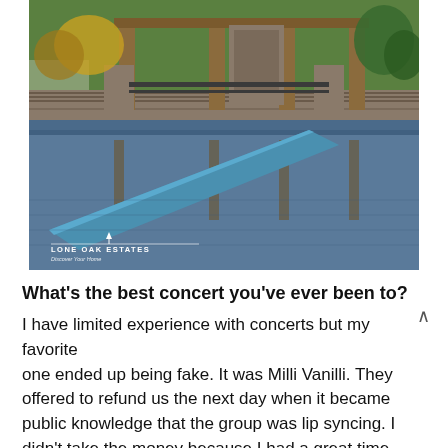[Figure (photo): A scenic lake or pond with a wooden and stone pavilion structure with timber frame roof and stone fireplace visible in the background. A blue kayak or paddleboard is resting on or near a dock on the calm reflective water. Green grass and trees are visible in the background. A watermark in the lower-left reads 'LONE OAK ESTATES'.]
What's the best concert you've ever been to?
I have limited experience with concerts but my favorite one ended up being fake. It was Milli Vanilli. They offered to refund us the next day when it became public knowledge that the group was lip syncing. I didn't take the money because I had a great time